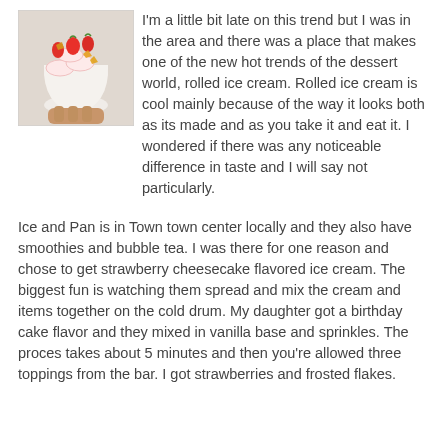[Figure (photo): A hand holding a white cup filled with rolled ice cream topped with strawberries and what appears to be frosted flakes/cornflake pieces.]
I'm a little bit late on this trend but I was in the area and there was a place that makes one of the new hot trends of the dessert world, rolled ice cream. Rolled ice cream is cool mainly because of the way it looks both as its made and as you take it and eat it. I wondered if there was any noticeable difference in taste and I will say not particularly.

Ice and Pan is in Town town center locally and they also have smoothies and bubble tea. I was there for one reason and chose to get strawberry cheesecake flavored ice cream. The biggest fun is watching them spread and mix the cream and items together on the cold drum. My daughter got a birthday cake flavor and they mixed in vanilla base and sprinkles. The proces takes about 5 minutes and then you're allowed three toppings from the bar. I got strawberries and frosted flakes.